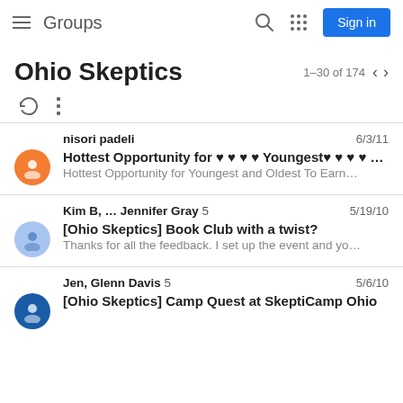Groups — Sign in
Ohio Skeptics   1–30 of 174
nisori padeli   6/3/11
Hottest Opportunity for ♥ ♥ ♥ ♥ Youngest♥ ♥ ♥ ♥ an…
Hottest Opportunity for Youngest and Oldest To Earn…
Kim B, … Jennifer Gray  5   5/19/10
[Ohio Skeptics] Book Club with a twist?
Thanks for all the feedback. I set up the event and yo…
Jen, Glenn Davis  5   5/6/10
[Ohio Skeptics] Camp Quest at SkeptiCamp Ohio